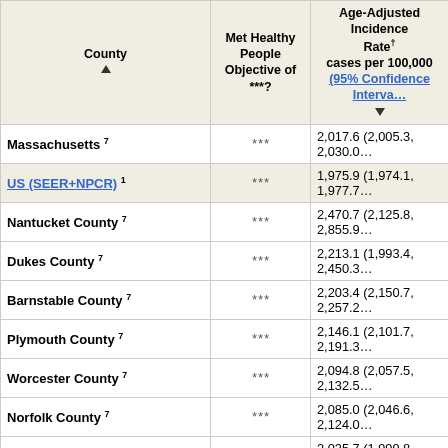| County ▲ | Met Healthy People Objective of ***? | Age-Adjusted Incidence Rate† cases per 100,000 (95% Confidence Interval) ▼ |
| --- | --- | --- |
| Massachusetts 7 | *** | 2,017.6 (2,005.3, 2,030.0… |
| US (SEER+NPCR) 1 | *** | 1,975.9 (1,974.1, 1,977.7… |
| Nantucket County 7 | *** | 2,470.7 (2,125.8, 2,855.9… |
| Dukes County 7 | *** | 2,213.1 (1,993.4, 2,450.3… |
| Barnstable County 7 | *** | 2,203.4 (2,150.7, 2,257.2… |
| Plymouth County 7 | *** | 2,146.1 (2,101.7, 2,191.3… |
| Worcester County 7 | *** | 2,094.8 (2,057.5, 2,132.5… |
| Norfolk County 7 | *** | 2,085.0 (2,046.6, 2,124.0… |
| Essex County 7 | *** | 2,035.7 (1,999.8, 2,072.1… |
| Bristol County 7 | *** | 2,030.7 (1,988.4, 2,073.7… |
| Middlesex County 7 | *** | 1,958.0 (1,932.0, 1,984.2… |
| Berkshire County 7 | *** | 1,910.7 (1,837.5, 1,986.0… |
| Hampden County 7 | *** | 1,898.1 (1,853.2, 1,943… |